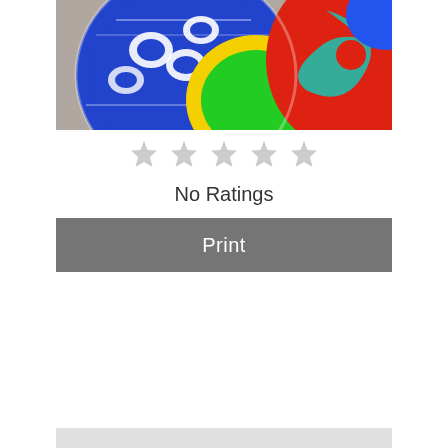[Figure (photo): Colorful decorative plates — blue/white ikat pattern plate overlapping with bright multicolored plates (red, teal, green, yellow swirl patterns)]
★★★★★ (5 empty stars)
No Ratings
Print
| PREP TIME | COOK TIME | TOTAL TIME |
| --- | --- | --- |
| 1 hour | 30 minutes | 1 hour
30 minutes |